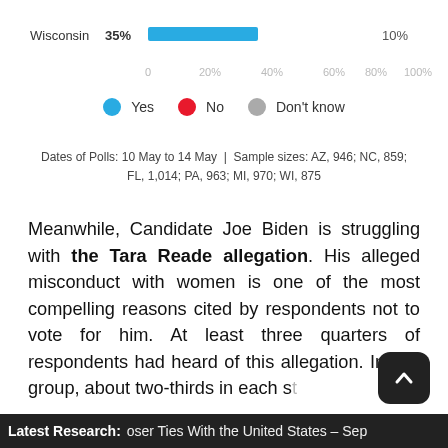[Figure (bar-chart): Wisconsin poll results]
Yes   No   Don't know
Dates of Polls: 10 May to 14 May  |  Sample sizes: AZ, 946; NC, 859; FL, 1,014; PA, 963; MI, 970; WI, 875
Meanwhile, Candidate Joe Biden is struggling with the Tara Reade allegation. His alleged misconduct with women is one of the most compelling reasons cited by respondents not to vote for him. At least three quarters of respondents had heard of this allegation. In this group, about two-thirds in each state...
Latest Research: oser Ties With the United States – Sep